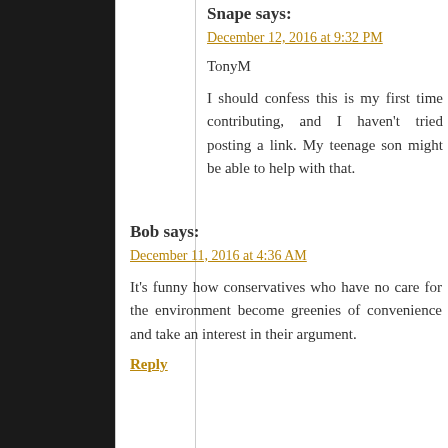Snape says:
December 12, 2016 at 9:32 PM
TonyM
I should confess this is my first time contributing, and I haven’t tried posting a link. My teenage son might be able to help with that.
Bob says:
December 11, 2016 at 4:36 AM
It’s funny how conservatives who have no care for the environment become greenies of convenience and take an interest when it suits their argument.
Reply